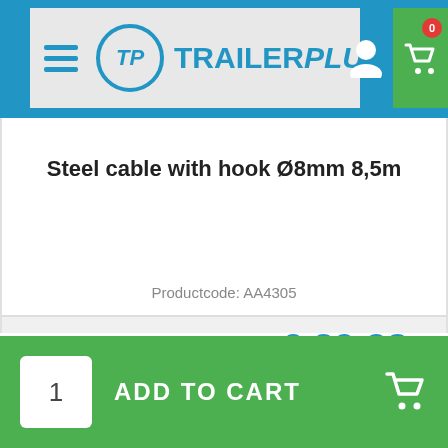[Figure (screenshot): TrailerPlus website header with logo, hamburger menu, user icon, and green cart icon with badge showing 0]
Steel cable with hook Ø8mm 8,5m
Productcode: AA4305
€ 30,84 (strikethrough old price)
€ 29,38
INCLUDE VAT
1  ADD TO CART